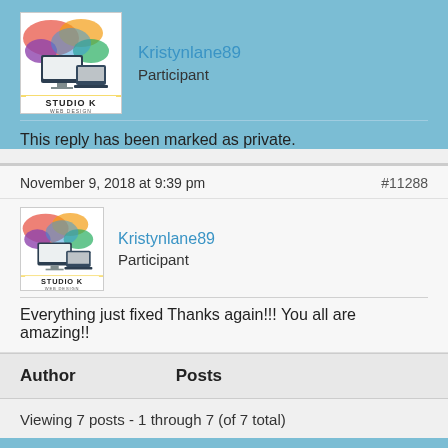[Figure (logo): Studio K Web Design logo - colorful illustration with computer devices and splash of colors, text STUDIO K WEB DESIGN]
Kristynlane89
Participant
This reply has been marked as private.
November 9, 2018 at 9:39 pm
#11288
[Figure (logo): Studio K Web Design logo - colorful illustration with computer devices and splash of colors, text STUDIO K WEB DESIGN]
Kristynlane89
Participant
Everything just fixed Thanks again!!! You all are amazing!!
Author
Posts
Viewing 7 posts - 1 through 7 (of 7 total)